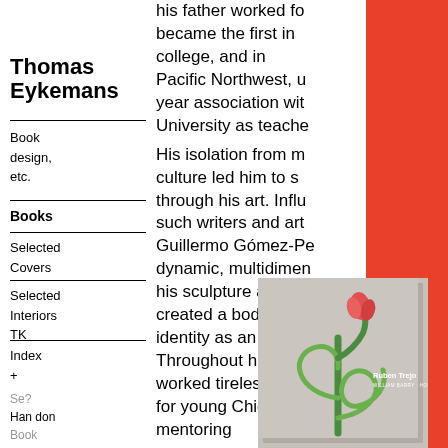his father worked fo became the first in college, and in Pacific Northwest, year association with University as teache His isolation from m culture led him to s through his art. Influ such writers and ar Guillermo Gómez-Pe dynamic, multidimen his sculpture and m created a body of w identity as an artist Throughout his long worked tirelessly to for young Chicanos mentoring
Thomas Eykemans
Book design, etc.
Books
Selected Covers
Selected Interiors TK
Index +
Se? Han don Book
[Figure (photo): Book cover for 'Ruben Trejo' showing a green metal sculptural figure with a red tulip-like flower on top, against a grey background. Text reads 'Ruben Trejo' in white.]